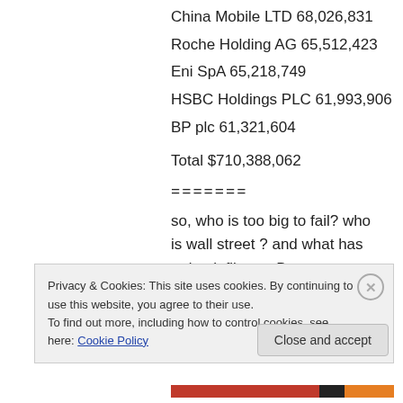China Mobile LTD 68,026,831
Roche Holding AG 65,512,423
Eni SpA 65,218,749
HSBC Holdings PLC 61,993,906
BP plc 61,321,604
Total $710,388,062
=======
so, who is too big to fail? who is wall street ? and what has trojan infiltrator Brown to say to these public employees who are joined at the hip to
Privacy & Cookies: This site uses cookies. By continuing to use this website, you agree to their use.
To find out more, including how to control cookies, see here: Cookie Policy
Close and accept